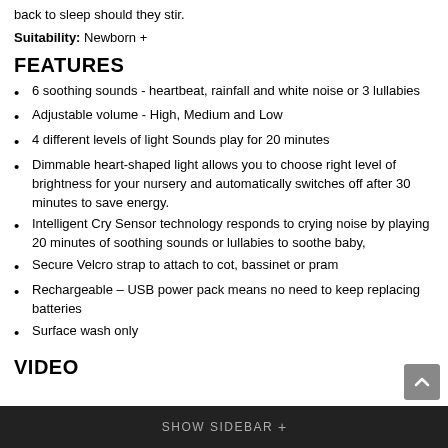back to sleep should they stir.
Suitability: Newborn +
FEATURES
6 soothing sounds - heartbeat, rainfall and white noise or 3 lullabies
Adjustable volume - High, Medium and Low
4 different levels of light Sounds play for 20 minutes
Dimmable heart-shaped light allows you to choose right level of brightness for your nursery and automatically switches off after 30 minutes to save energy.
Intelligent Cry Sensor technology responds to crying noise by playing 20 minutes of soothing sounds or lullabies to soothe baby,
Secure Velcro strap to attach to cot, bassinet or pram
Rechargeable – USB power pack means no need to keep replacing batteries
Surface wash only
VIDEO
SHOW SIDEBAR +